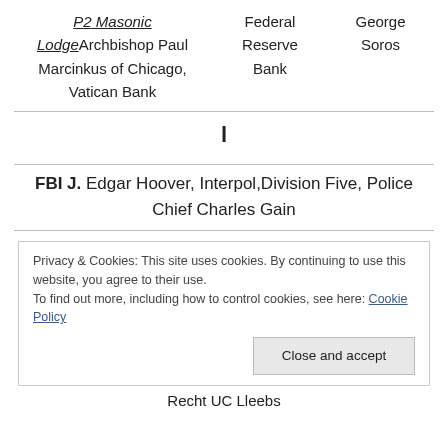|  |  |  |
| --- | --- | --- |
| P2 Masonic LodgeArchbishop Paul Marcinkus of Chicago, Vatican Bank | Federal Reserve Bank | George Soros |
l
FBI J. Edgar Hoover, Interpol,Division Five, Police Chief Charles Gain
Privacy & Cookies: This site uses cookies. By continuing to use this website, you agree to their use.
To find out more, including how to control cookies, see here: Cookie Policy
Close and accept
Recht UC Lleebs